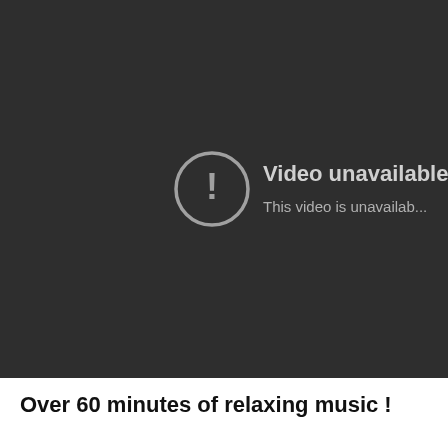[Figure (screenshot): A dark gray video player showing a 'Video unavailable' error message. On the left side of the message is a circle with an exclamation mark icon. To the right it reads 'Video unavailable' in large text and 'This video is unavailable.' in smaller text below.]
Over 60 minutes of relaxing music !